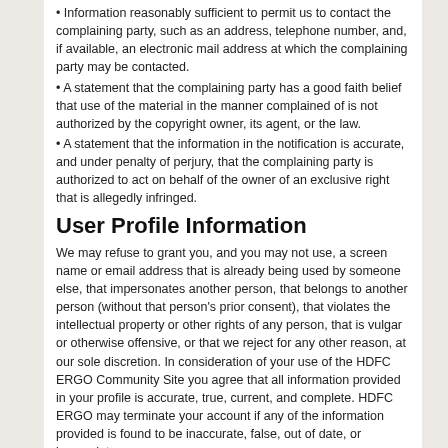• Information reasonably sufficient to permit us to contact the complaining party, such as an address, telephone number, and, if available, an electronic mail address at which the complaining party may be contacted.
• A statement that the complaining party has a good faith belief that use of the material in the manner complained of is not authorized by the copyright owner, its agent, or the law.
• A statement that the information in the notification is accurate, and under penalty of perjury, that the complaining party is authorized to act on behalf of the owner of an exclusive right that is allegedly infringed.
User Profile Information
We may refuse to grant you, and you may not use, a screen name or email address that is already being used by someone else, that impersonates another person, that belongs to another person (without that person's prior consent), that violates the intellectual property or other rights of any person, that is vulgar or otherwise offensive, or that we reject for any other reason, at our sole discretion. In consideration of your use of the HDFC ERGO Community Site you agree that all information provided in your profile is accurate, true, current, and complete. HDFC ERGO may terminate your account if any of the information provided is found to be inaccurate, false, out of date, or incomplete.
Member Generated Content